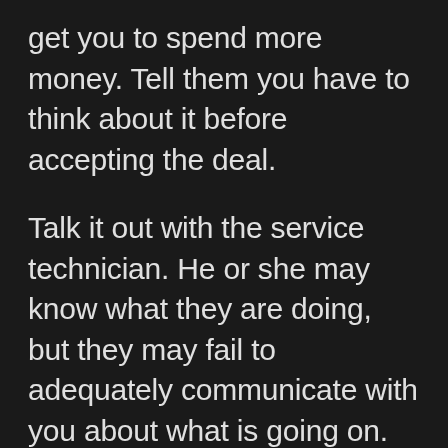get you to spend more money. Tell them you have to think about it before accepting the deal.
Talk it out with the service technician. He or she may know what they are doing, but they may fail to adequately communicate with you about what is going on. Therefore, don't be afraid to question what they are telling you so that you are both on the same page. Communicate your needs clearly so